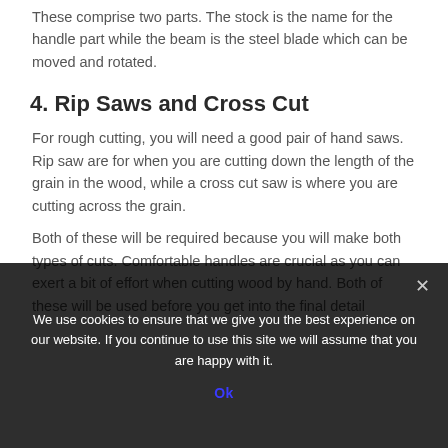These comprise two parts. The stock is the name for the handle part while the beam is the steel blade which can be moved and rotated.
4. Rip Saws and Cross Cut
For rough cutting, you will need a good pair of hand saws. Rip saw are for when you are cutting down the length of the grain in the wood, while a cross cut saw is where you are cutting across the grain.
Both of these will be required because you will make both types of cuts. Comfortable handles are crucial as you can exert a bit of effort when cutting wood by hand. Both of these will be used before you get into the final detail
We use cookies to ensure that we give you the best experience on our website. If you continue to use this site we will assume that you are happy with it.
Ok